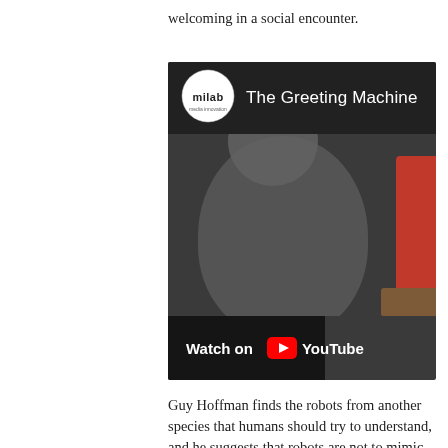welcoming in a social encounter.
[Figure (screenshot): YouTube video thumbnail for 'The Greeting Machine' by milab channel. Shows a dark image of a robot with a YouTube 'Watch on YouTube' footer bar.]
Guy Hoffman finds the robots from another species that humans should try to understand, and he suggests that robots are not to mimic and imitate human gestures